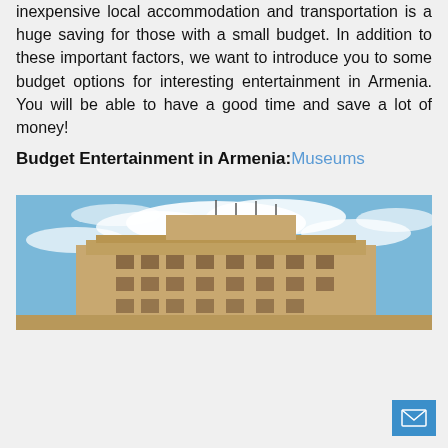inexpensive local accommodation and transportation is a huge saving for those with a small budget. In addition to these important factors, we want to introduce you to some budget options for interesting entertainment in Armenia. You will be able to have a good time and save a lot of money!
Budget Entertainment in Armenia: Museums
[Figure (photo): Photo of a large classical/Soviet-era building shot from a low angle against a blue sky with white clouds. The building has a beige/tan stone facade with ornate architectural details, multiple windows, and antenna equipment on the roof.]